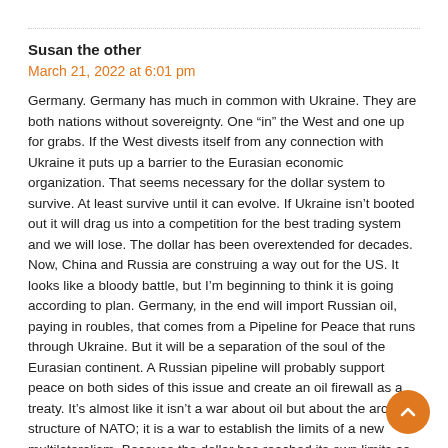Susan the other
March 21, 2022 at 6:01 pm
Germany. Germany has much in common with Ukraine. They are both nations without sovereignty. One “in” the West and one up for grabs. If the West divests itself from any connection with Ukraine it puts up a barrier to the Eurasian economic organization. That seems necessary for the dollar system to survive. At least survive until it can evolve. If Ukraine isn’t booted out it will drag us into a competition for the best trading system and we will lose. The dollar has been overextended for decades. Now, China and Russia are construing a way out for the US. It looks like a bloody battle, but I’m beginning to think it is going according to plan. Germany, in the end will import Russian oil, paying in roubles, that comes from a Pipeline for Peace that runs through Ukraine. But it will be a separation of the soul of the Eurasian continent. A Russian pipeline will probably support peace on both sides of this issue and create an oil firewall as a treaty. It’s almost like it isn’t a war about oil but about the archaic structure of NATO; it is a war to establish the limits of a new multilateralism. Because the dollar has reached its own limits as an international currency and a new SDR